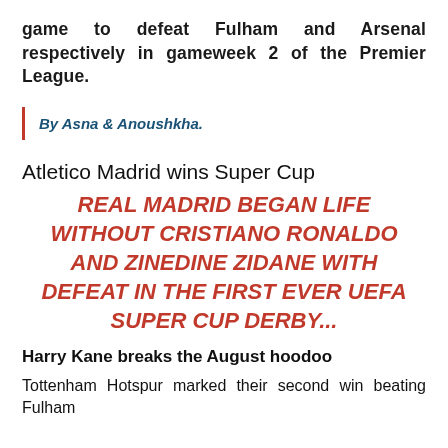game to defeat Fulham and Arsenal respectively in gameweek 2 of the Premier League.
By Asna & Anoushkha.
Atletico Madrid wins Super Cup
REAL MADRID BEGAN LIFE WITHOUT CRISTIANO RONALDO AND ZINEDINE ZIDANE WITH DEFEAT IN THE FIRST EVER UEFA SUPER CUP DERBY...
Harry Kane breaks the August hoodoo
Tottenham Hotspur marked their second win beating Fulham